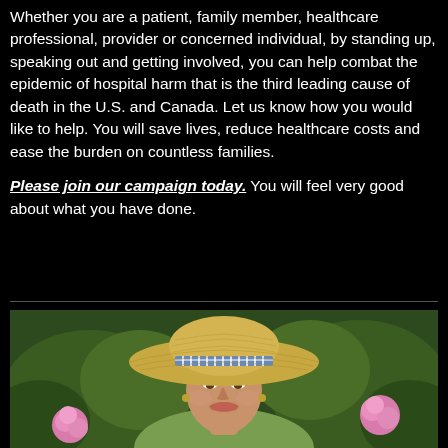Whether you are a patient, family member, healthcare professional, provider or concerned individual, by standing up, speaking out and getting involved, you can help combat the epidemic of hospital harm that is the third leading cause of death in the U.S. and Canada. Let us know how you would like to help. You will save lives, reduce healthcare costs and ease the burden on countless families.

Please join our campaign today. You will feel very good about what you have done.
[Figure (photo): Portrait photo of a woman wearing a wide-brimmed straw hat with a blue and white checkered band, smiling, outdoors with pink flowers and green foliage in the background.]